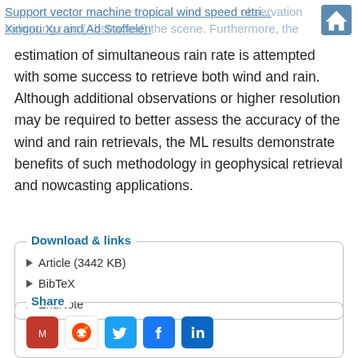Support vector machine tropical wind speed retrieval indicating rain (Abstracted) the scene. Furthermore, the
Xingou Xu and Ad Stoffelen
estimation of simultaneous rain rate is attempted with some success to retrieve both wind and rain. Although additional observations or higher resolution may be required to better assess the accuracy of the wind and rain retrievals, the ML results demonstrate benefits of such methodology in geophysical retrieval and nowcasting applications.
Download & links
Article (3442 KB)
BibTeX
EndNote
Share